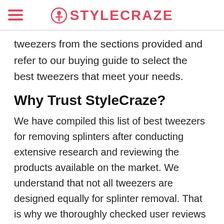STYLECRAZE
tweezers from the sections provided and refer to our buying guide to select the best tweezers that meet your needs.
Why Trust StyleCraze?
We have compiled this list of best tweezers for removing splinters after conducting extensive research and reviewing the products available on the market. We understand that not all tweezers are designed equally for splinter removal. That is why we thoroughly checked user reviews and feedback to ensure we pick only the best product for you. We shortlisted the products considering their safety, durability, and efficacy.